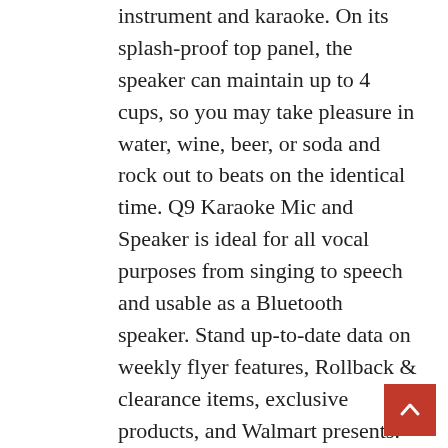instrument and karaoke. On its splash-proof top panel, the speaker can maintain up to 4 cups, so you may take pleasure in water, wine, beer, or soda and rock out to beats on the identical time. Q9 Karaoke Mic and Speaker is ideal for all vocal purposes from singing to speech and usable as a Bluetooth speaker. Stand up-to-date data on weekly flyer features, Rollback & clearance items, exclusive products, and Walmart presents. It's completely suitable for picnic journeys, social gathering, family entertainment, singing karaoke, public place, etc. It's endorsed to experience the product in precise at LG store close by your location and take demo of product & its features from LG consultant. Three, passive two-manner programs—the V.10, V.12 and V.15—combine